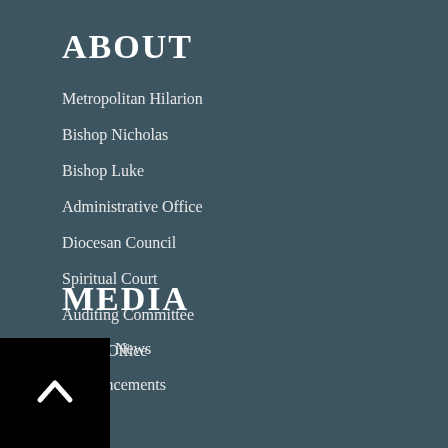ABOUT
Metropolitan Hilarion
Bishop Nicholas
Bishop Luke
Administrative Office
Diocesan Council
Spiritual Court
Auditing Committee
Media Office
MEDIA
Current News
Announcements
News
Photos
Podcasts
Videos